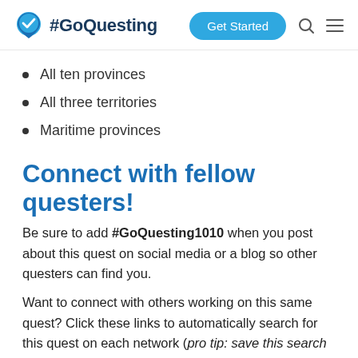#GoQuesting | Get Started
All ten provinces
All three territories
Maritime provinces
Connect with fellow questers!
Be sure to add #GoQuesting1010 when you post about this quest on social media or a blog so other questers can find you.
Want to connect with others working on this same quest? Click these links to automatically search for this quest on each network (pro tip: save this search